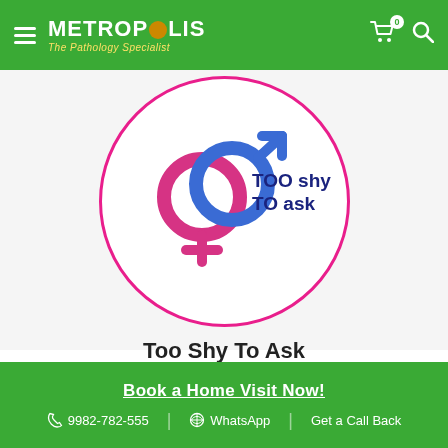METROPOLIS The Pathology Specialist
[Figure (logo): Too Shy To Ask logo — interlinked male and female gender symbols in blue and pink inside a pink circle, with text 'TOO shy TO ask' in dark blue/navy]
Too Shy To Ask
India's only Adolescent and Reproductive Sexual Health App. Safe space to ask anything that you are too shy to ask.
Book a Home Visit Now! | 9982-782-555 | WhatsApp | Get a Call Back